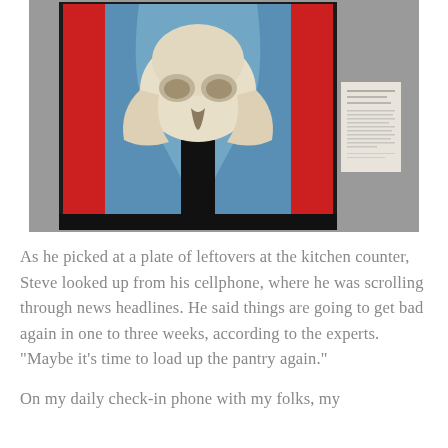[Figure (photo): Museum display of a Georgia O'Keeffe painting showing a cow skull centered on a background of blue, red, and black. A museum label plaque is visible on the wall to the right of the painting.]
As he picked at a plate of leftovers at the kitchen counter, Steve looked up from his cellphone, where he was scrolling through news headlines. He said things are going to get bad again in one to three weeks, according to the experts. "Maybe it's time to load up the pantry again."
On my daily check-in phone with my folks, my